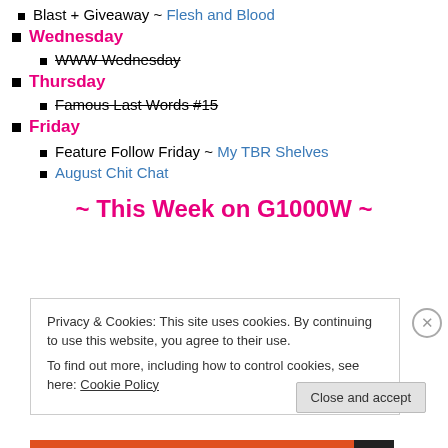Blast + Giveaway ~ Flesh and Blood
Wednesday
WWW Wednesday (strikethrough)
Thursday
Famous Last Words #15 (strikethrough)
Friday
Feature Follow Friday ~ My TBR Shelves
August Chit Chat
~ This Week on G1000W ~
Privacy & Cookies: This site uses cookies. By continuing to use this website, you agree to their use.
To find out more, including how to control cookies, see here: Cookie Policy